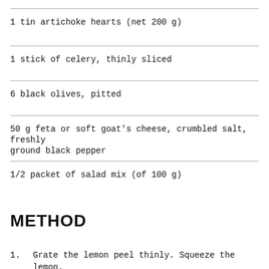1 tin artichoke hearts (net 200 g)
1 stick of celery, thinly sliced
6 black olives, pitted
50 g feta or soft goat's cheese, crumbled salt, freshly ground black pepper
1/2 packet of salad mix (of 100 g)
METHOD
1.    Grate the lemon peel thinly. Squeeze the lemon.